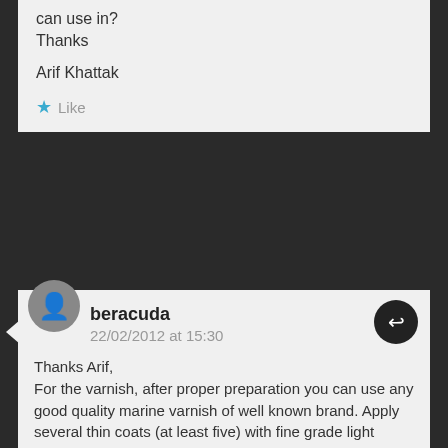can use in?
Thanks
Arif Khattak
★ Like
beracuda
22/02/2012 at 15:30
Thanks Arif,
For the varnish, after proper preparation you can use any good quality marine varnish of well known brand. Apply several thin coats (at least five) with fine grade light sanding in between. Avoid leaving the car exposed to the sun, the UV rays will soon destroy the exterior coat, the varnish and the upholstery.

Best regards from Athens, Greece 🙂